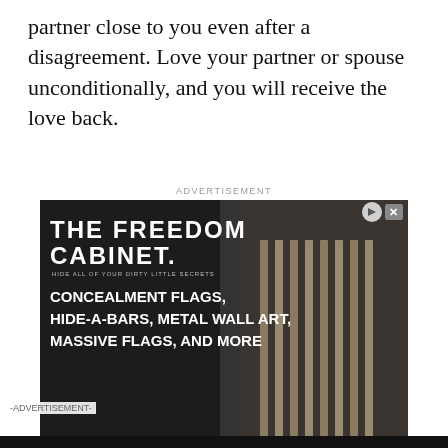partner close to you even after a disagreement. Love your partner or spouse unconditionally, and you will receive the love back.
[Figure (screenshot): Advertisement for 'The Freedom Cabinet' - dark background with text: CONCEALMENT FLAGS, HIDE-A-BARS, METAL WALL ART, MASSIVE FLAGS, AND MORE]
[Figure (screenshot): Video player overlay with dark background showing 'How To Open 7 Chakras - Meditation and Healing - SunSigns.Org']
[Figure (screenshot): Advertisement for BitLife game featuring 'Murder Do it!' text]